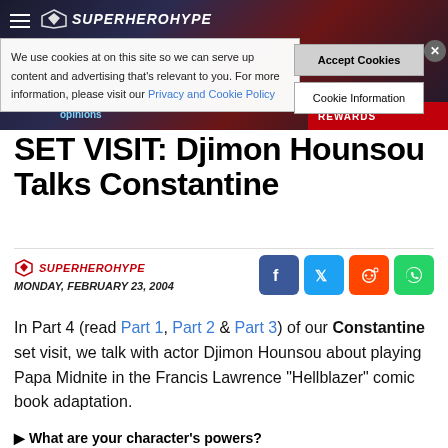[Figure (screenshot): SuperHeroHype website header/banner with navigation and cookie consent overlay showing Accept Cookies and Cookie Information buttons with a close X button]
SET VISIT: Djimon Hounsou Talks Constantine
SUPERHEROHYPE
MONDAY, FEBRUARY 23, 2004
[Figure (infographic): Social share buttons: Facebook (blue), Twitter (blue), Reddit (orange-red), WhatsApp (green)]
In Part 4 (read Part 1, Part 2 & Part 3) of our Constantine set visit, we talk with actor Djimon Hounsou about playing Papa Midnite in the Francis Lawrence “Hellblazer” comic book adaptation.
What are your character's powers?